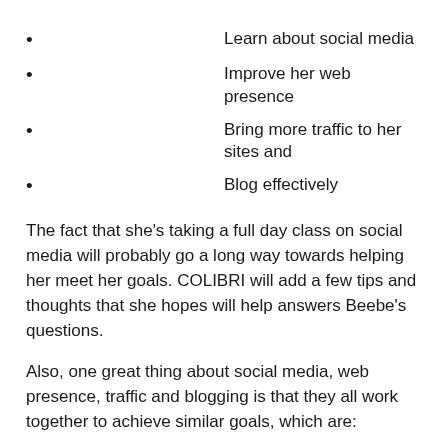Learn about social media
Improve her web presence
Bring more traffic to her sites and
Blog effectively
The fact that she's taking a full day class on social media will probably go a long way towards helping her meet her goals. COLIBRI will add a few tips and thoughts that she hopes will help answers Beebe's questions.
Also, one great thing about social media, web presence, traffic and blogging is that they all work together to achieve similar goals, which are:
Building a brand
Getting your name out